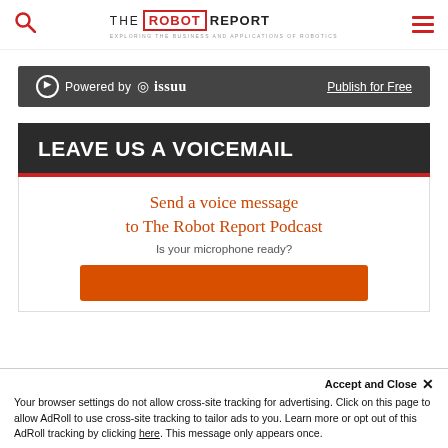THE ROBOT REPORT - EXPLORING THE BUSINESS AND APPLICATIONS OF ROBOTICS
[Figure (screenshot): Issuu powered bar with 'Powered by issuu' on left and 'Publish for Free' link on right, dark gray background]
LEAVE US A VOICEMAIL
Send a voice message to The Robot Report Podcast
Is your microphone ready?
Accept and Close ✕ Your browser settings do not allow cross-site tracking for advertising. Click on this page to allow AdRoll to use cross-site tracking to tailor ads to you. Learn more or opt out of this AdRoll tracking by clicking here. This message only appears once.